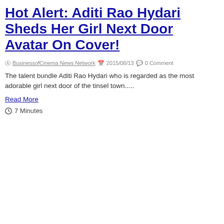Hot Alert: Aditi Rao Hydari Sheds Her Girl Next Door Avatar On Cover!
BusinessofCinema News Network  2015/08/13  0 Comment
The talent bundle Aditi Rao Hydari who is regarded as the most adorable girl next door of the tinsel town.....
Read More
7 Minutes